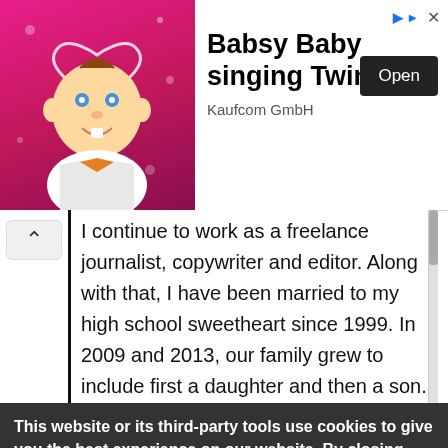[Figure (screenshot): Advertisement banner for 'Babsy Baby singing Twinkle' app by Kaufcom GmbH, showing a cartoon baby with a heart-shaped halo on a pink starry background, with an 'Open' button.]
I continue to work as a freelance journalist, copywriter and editor. Along with that, I have been married to my high school sweetheart since 1999. In 2009 and 2013, our family grew to include first a daughter and then a son. I deal with a couple of chronic illnesses and feel blessed to be able to work from home while my kiddos
This website or its third-party tools use cookies to give you the best experience on our website. By closing this banner, scrolling this page, clicking a link or continuing to browse otherwise, you agree to the use of cookies.
You can find out more about which cookies we are using or switch them off in settings.